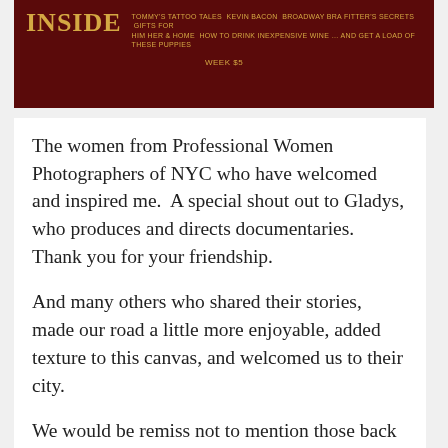[Figure (photo): Top portion of a magazine or publication cover showing a dark red/maroon banner with 'INSIDE' text in gold, followed by small gold text listing contents, and a price line below.]
The women from Professional Women Photographers of NYC who have welcomed and inspired me.  A special shout out to Gladys, who produces and directs documentaries.  Thank you for your friendship.
And many others who shared their stories, made our road a little more enjoyable, added texture to this canvas, and welcomed us to their city.
We would be remiss not to mention those back home who have supported us this year, and those who came to visit.